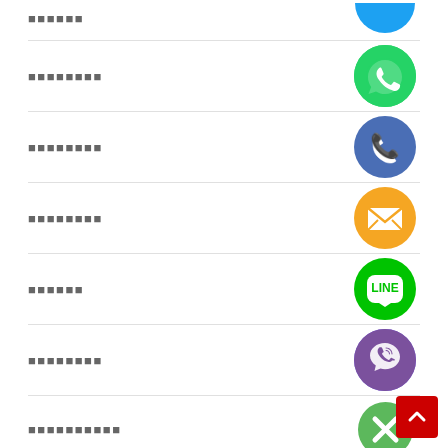▪▪▪▪▪▪
[Figure (logo): WhatsApp green circle icon]
▪▪▪▪▪▪▪▪
[Figure (logo): Phone/call blue circle icon]
▪▪▪▪▪▪▪▪
[Figure (logo): Email/mail orange circle icon]
▪▪▪▪▪▪
[Figure (logo): LINE green circle icon]
▪▪▪▪▪▪▪▪
[Figure (logo): Viber purple circle icon]
▪▪▪▪▪▪▪▪▪▪
[Figure (logo): Green circle with X icon]
▪▪▪▪▪▪
▪▪▪▪▪▪